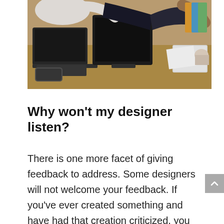[Figure (photo): Office scene showing people at a desk with laptops, one person handing over a portfolio/folder to another across the table]
Why won't my designer listen?
There is one more facet of giving feedback to address. Some designers will not welcome your feedback. If you've ever created something and have had that creation criticized, you may already know why this is. When you create something,